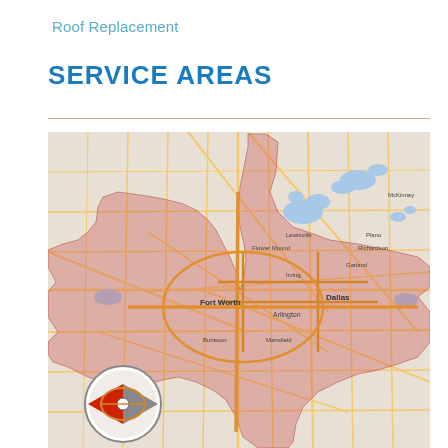Roof Replacement
SERVICE AREAS
[Figure (map): Service area map showing the Dallas/Fort Worth metroplex and surrounding areas in Texas. A red/pink shaded region highlights the service coverage area, which includes Fort Worth, Dallas, Arlington, Garland, Plano, McKinney, and surrounding cities. Road networks are shown in yellow/orange. Blue areas indicate lakes and water bodies. A compass/navigation icon is visible in the lower left.]